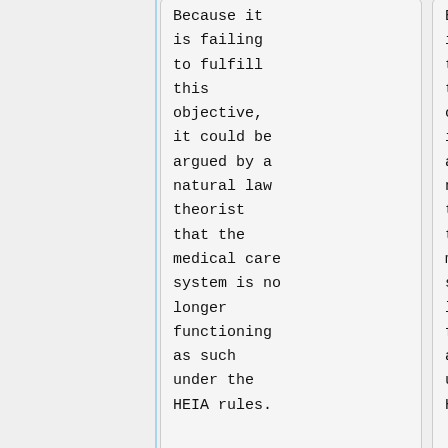Because it is failing to fulfill this objective, it could be argued by a natural law theorist that the medical care system is no longer functioning as such under the HEIA rules.
Because it is failing to fulfill this objective, it could be argued by a natural law theorist that the medical care system is no longer functioning as such under the HEIA rules.
:Natural law
:Natural law